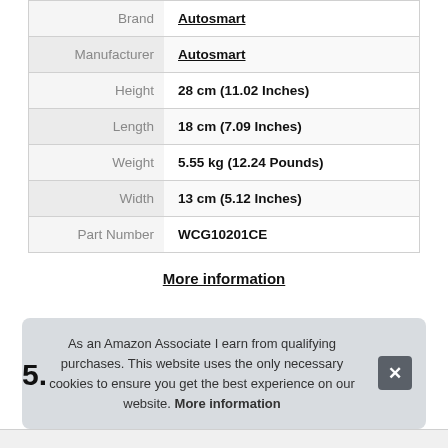| Attribute | Value |
| --- | --- |
| Brand | Autosmart |
| Manufacturer | Autosmart |
| Height | 28 cm (11.02 Inches) |
| Length | 18 cm (7.09 Inches) |
| Weight | 5.55 kg (12.24 Pounds) |
| Width | 13 cm (5.12 Inches) |
| Part Number | WCG10201CE |
More information
As an Amazon Associate I earn from qualifying purchases. This website uses the only necessary cookies to ensure you get the best experience on our website. More information
5.